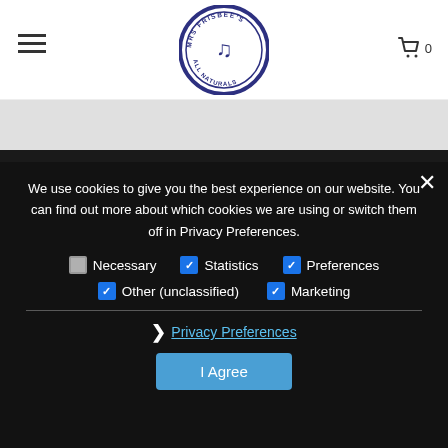[Figure (logo): Mrs Frisbee's All Naturals circular logo with fish/hook design in navy blue]
We use cookies to give you the best experience on our website. You can find out more about which cookies we are using or switch them off in Privacy Preferences.
Necessary (unchecked), Statistics (checked), Preferences (checked), Other (unclassified) (checked), Marketing (checked)
Privacy Preferences
I Agree